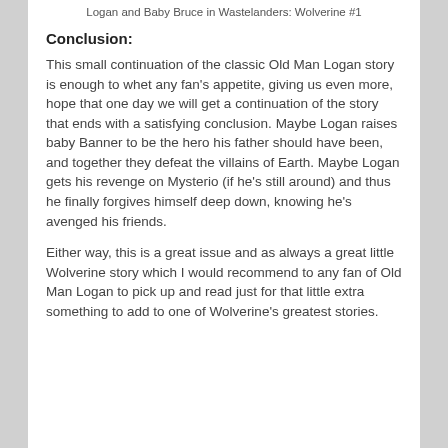Logan and Baby Bruce in Wastelanders: Wolverine #1
Conclusion:
This small continuation of the classic Old Man Logan story is enough to whet any fan's appetite, giving us even more, hope that one day we will get a continuation of the story that ends with a satisfying conclusion. Maybe Logan raises baby Banner to be the hero his father should have been, and together they defeat the villains of Earth. Maybe Logan gets his revenge on Mysterio (if he's still around) and thus he finally forgives himself deep down, knowing he's avenged his friends.
Either way, this is a great issue and as always a great little Wolverine story which I would recommend to any fan of Old Man Logan to pick up and read just for that little extra something to add to one of Wolverine's greatest stories.